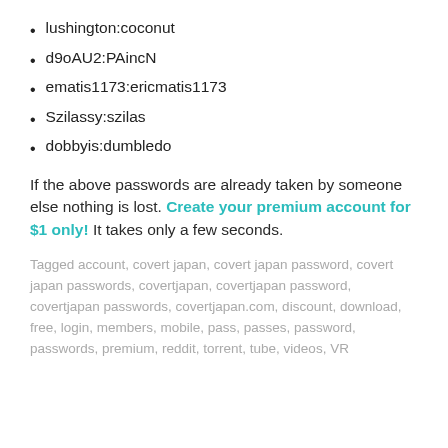lushington:coconut
d9oAU2:PAincN
ematis1173:ericmatis1173
Szilassy:szilas
dobbyis:dumbledo
If the above passwords are already taken by someone else nothing is lost. Create your premium account for $1 only! It takes only a few seconds.
Tagged account, covert japan, covert japan password, covert japan passwords, covertjapan, covertjapan password, covertjapan passwords, covertjapan.com, discount, download, free, login, members, mobile, pass, passes, password, passwords, premium, reddit, torrent, tube, videos, VR